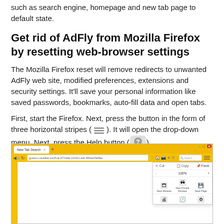such as search engine, homepage and new tab page to default state.
Get rid of AdFly from Mozilla Firefox by resetting web-browser settings
The Mozilla Firefox reset will remove redirects to unwanted AdFly web site, modified preferences, extensions and security settings. It'll save your personal information like saved passwords, bookmarks, auto-fill data and open tabs.
First, start the Firefox. Next, press the button in the form of three horizontal stripes ( [icon] ). It will open the drop-down menu. Next, press the Help button ( [?] ).
[Figure (screenshot): Screenshot of Mozilla Firefox browser window showing the browser menu open with options including Cut, Copy, Paste, zoom controls, New Window, New Private Window, Save Page, Print, History, and other items. The browser has a yellow/orange toolbar and shows a Firefox new tab page.]